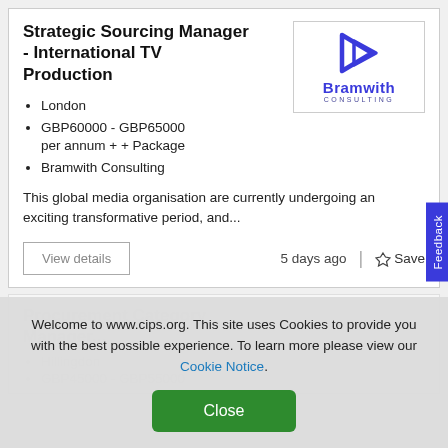Strategic Sourcing Manager - International TV Production
London
GBP60000 - GBP65000 per annum + + Package
Bramwith Consulting
[Figure (logo): Bramwith Consulting logo with stylized B icon in dark blue/purple and company name]
This global media organisation are currently undergoing an exciting transformative period, and...
View details
5 days ago
Save
Feedback
Welcome to www.cips.org. This site uses Cookies to provide you with the best possible experience. To learn more please view our Cookie Notice.
Close